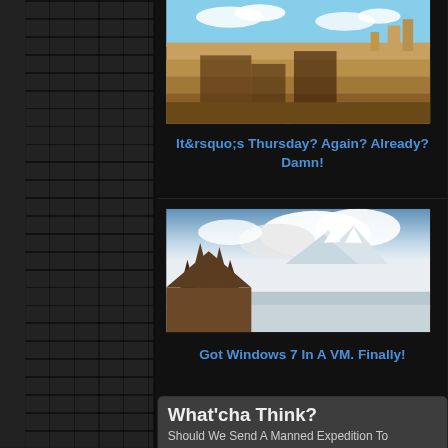[Figure (photo): Desert landscape with rocky canyon and ancient ruins or rock formations under a blue sky]
It&rsquo;s Thursday? Again? Already? Damn!
[Figure (photo): Rocky spires or hoodoos in foreground with snow-capped mountains and flat plain in the background under a cloudy sky]
Got Windows 7 In A VM. Finally!
What'cha Think?
Should We Send A Manned Expedition To